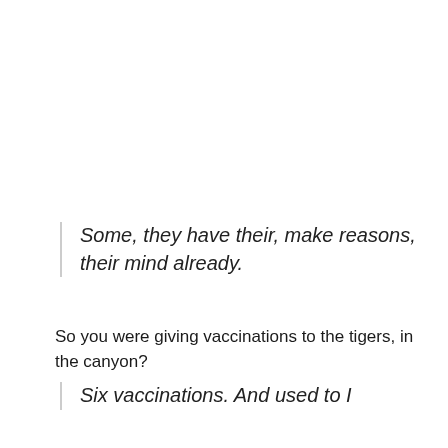Some, they have their, make reasons, their mind already.
So you were giving vaccinations to the tigers, in the canyon?
Six vaccinations. And used to I